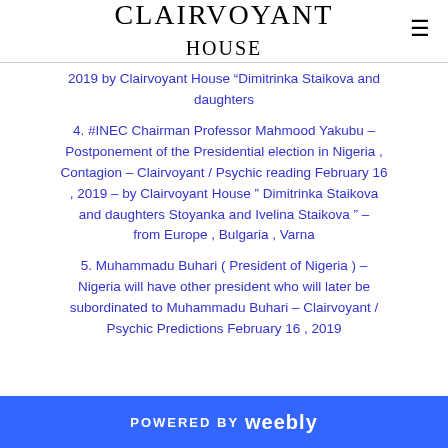CLAIRVOYANT HOUSE
2019 by Clairvoyant House “Dimitrinka Staikova and daughters
4. #INEC Chairman Professor Mahmood Yakubu – Postponement of the Presidential election in Nigeria , Contagion – Clairvoyant / Psychic reading February 16 , 2019 – by Clairvoyant House ” Dimitrinka Staikova and daughters Stoyanka and Ivelina Staikova ” – from Europe , Bulgaria , Varna
5. Muhammadu Buhari ( President of Nigeria ) – Nigeria will have other president who will later be subordinated to Muhammadu Buhari – Clairvoyant / Psychic Predictions February 16 , 2019
POWERED BY weebly